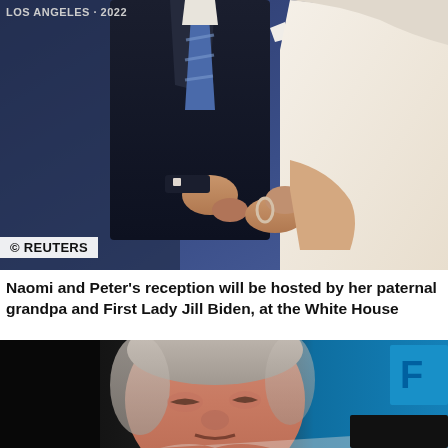[Figure (photo): Two people standing together — a man in a dark navy suit with a striped tie and a woman in a white outfit, holding hands or touching arms. Watermark text 'LOS ANGELES · 2022' at top left. Reuters logo badge at bottom left.]
Naomi and Peter's reception will be hosted by her paternal grandpa and First Lady Jill Biden, at the White House
[Figure (photo): Close-up photo of an older man with white/grey hair, appearing to speak, wearing a white shirt. Teal/blue background visible to the right.]